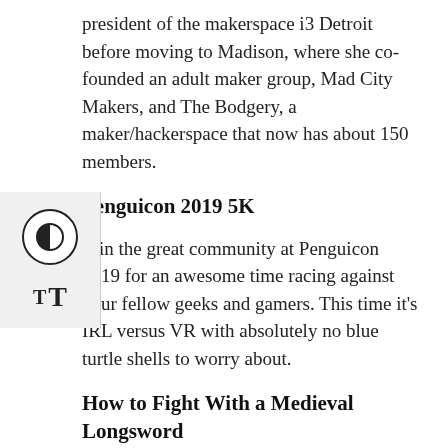president of the makerspace i3 Detroit before moving to Madison, where she co-founded an adult maker group, Mad City Makers, and The Bodgery, a maker/hackerspace that now has about 150 members.
Penguicon 2019 5K
Join the great community at Penguicon 2019 for an awesome time racing against your fellow geeks and gamers. This time it's IRL versus VR with absolutely no blue turtle shells to worry about.
How to Fight With a Medieval Longsword
Have you ever wanted to learn how to fight like they do in your favorite medieval action movie? Come learn the basics on how to handle a long sword and what made this weapon the go-to in the days long ago.